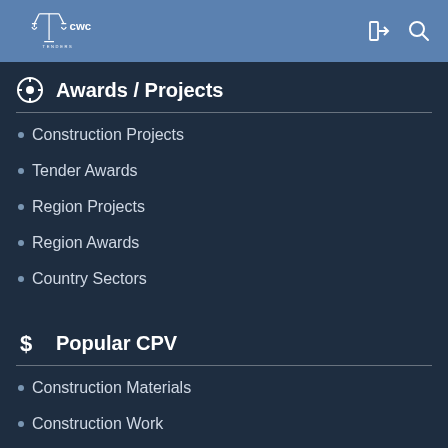CWC Tenders
Awards / Projects
Construction Projects
Tender Awards
Region Projects
Region Awards
Country Sectors
Popular CPV
Construction Materials
Construction Work
Road Construction
Scaffolding